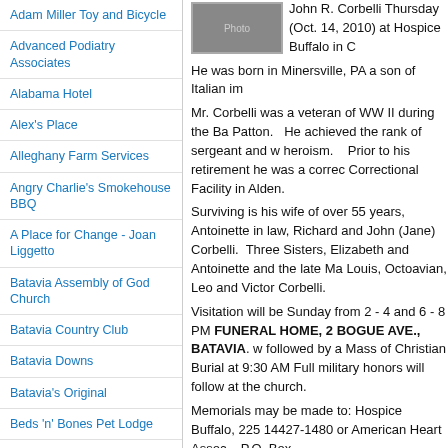Adam Miller Toy and Bicycle
Advanced Podiatry Associates
Alabama Hotel
Alex's Place
Alleghany Farm Services
Angry Charlie's Smokehouse BBQ
A Place for Change - Joan Liggetto
Batavia Assembly of God Church
Batavia Country Club
Batavia Downs
Batavia's Original
Beds 'n' Bones Pet Lodge
Bill Fox and Son Construction & Remodeling
Blondies Sip -N- Dip
Bontrager's Real Estate
Bourbon & Burger Co.
[Figure (photo): Portrait photo of John R. Corbelli]
John R. Corbelli Thursday (Oct. 14, 2010) at Hospice Buffalo in C...
He was born in Minersville, PA a son of Italian im...
Mr. Corbelli was a veteran of WW II during the Ba... Patton. He achieved the rank of sergeant and w... heroism. Prior to his retirement he was a correc... Correctional Facility in Alden.
Surviving is his wife of over 55 years, Antoinette ... in law, Richard and John (Jane) Corbelli. Three ... Sisters, Elizabeth and Antoinette and the late Ma... Louis, Octoavian, Leo and Victor Corbelli.
Visitation will be Sunday from 2 - 4 and 6 - 8 PM... FUNERAL HOME, 2 BOGUE AVE., BATAVIA. w... followed by a Mass of Christian Burial at 9:30 AM... Full military honors will follow at the church.
Memorials may be made to: Hospice Buffalo, 225... 14427-1480 or American Heart Assoc., P.O. Box...
Expressions of condolence may bae made at: ww...
ARRANGEMENTS ENTRUSTED TO THE J. LE... BOGUE AVE., BATAVIA. RONALD P. KONIECS...